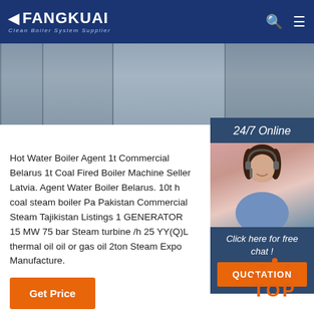FANGKUAI Clean Boiler System Supplier
[Figure (photo): Industrial boiler/pipe equipment photo header banner]
[Figure (photo): 24/7 Online customer service representative sidebar with chat agent]
Hot Water Boiler Agent 1t Commercial Belarus 1t Coal Fired Boiler Machine Seller Latvia. Agent Water Boiler Belarus. 10t h coal steam boiler Pa Pakistan Commercial Steam Tajikistan Listings 1 GENERATOR 15 MW 75 bar Steam turbine /h 25 YY(Q)L thermal oil oil or gas oil 2ton Steam Expo Manufacture.
Get Price
[Figure (logo): TOP button with orange dot pattern arrow pointing up]